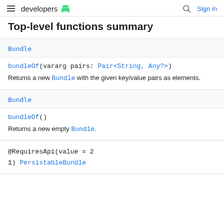developers [android logo] | [search icon] Sign in
Top-level functions summary
| Return type | Function |
| --- | --- |
| Bundle | bundleOf(vararg pairs: Pair<String, Any?>)
Returns a new Bundle with the given key/value pairs as elements. |
| Bundle | bundleOf()
Returns a new empty Bundle. |
|  | @RequiresApi(value = 2
1)  PersistableBundle |